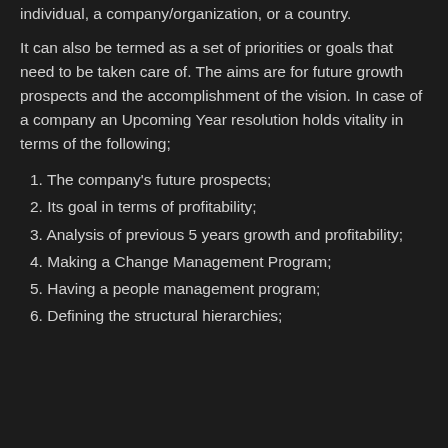that are afoot. They hold immense priorities for an individual, a company/organization, or a country.
It can also be termed as a set of priorities or goals that need to be taken care of. The aims are for future growth prospects and the accomplishment of the vision. In case of a company an Upcoming Year resolution holds vitality in terms of the following;
1. The company's future prospects;
2. Its goal in terms of profitability;
3. Analysis of previous 5 years growth and profitability;
4. Making a Change Management Program;
5. Having a people management program;
6. Defining the structural hierarchies;